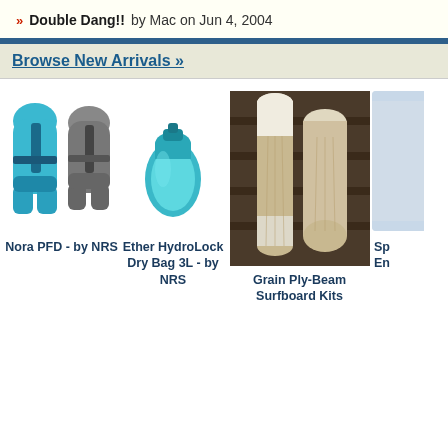» Double Dang!! by Mac on Jun 4, 2004
Browse New Arrivals »
[Figure (photo): Blue and gray Nora PFD life vest by NRS, two vests shown side by side]
Nora PFD - by NRS
[Figure (photo): Teal/turquoise Ether HydroLock Dry Bag 3L by NRS]
Ether HydroLock Dry Bag 3L - by NRS
[Figure (photo): Two wooden grain ply-beam surfboards leaning against a dark wood wall]
Grain Ply-Beam Surfboard Kits
[Figure (photo): Partial view of another product on the right edge of the page, text shows 'Sp' and 'En']